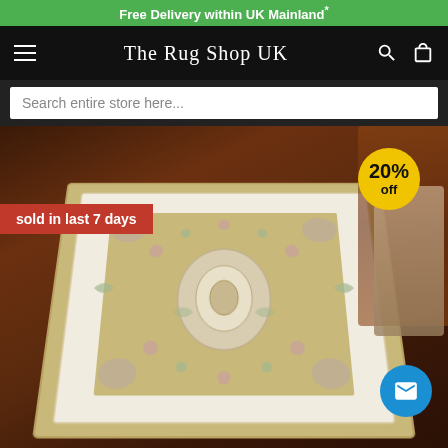Free Delivery within UK Mainland*
The Rug Shop UK
Search entire store here...
[Figure (photo): A beige/cream floral patterned luxury wool rug displayed on a dark wood floor room setting. Red badge reads 'sold in last 7 days'. Yellow circle badge reads '20% off'. Blue mail button bottom right.]
sold in last 7 days
20% off
≡ Recently Viewed   ❤ My Wishlist (0)